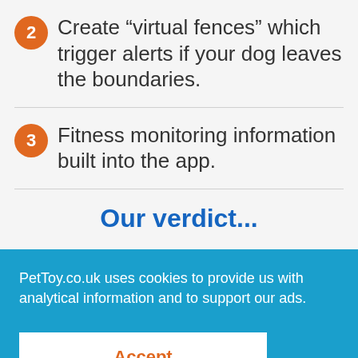2 Create “virtual fences” which trigger alerts if your dog leaves the boundaries.
3 Fitness monitoring information built into the app.
Our verdict...
PetToy.co.uk uses cookies to provide us with analytical information and to support our ads.
Accept